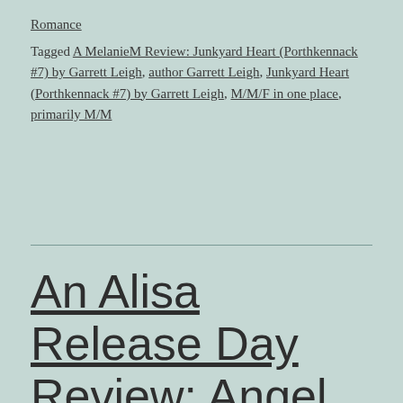Romance
Tagged A MelanieM Review: Junkyard Heart (Porthkennack #7) by Garrett Leigh, author Garrett Leigh, Junkyard Heart (Porthkennack #7) by Garrett Leigh, M/M/F in one place, primarily M/M
An Alisa Release Day Review: Angel 1089 (Heaven Corp. #1) by